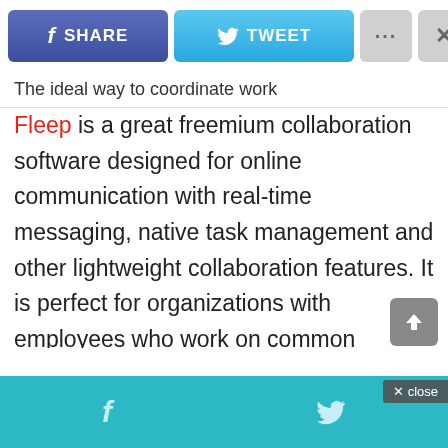[Figure (screenshot): Social sharing toolbar with Facebook Share button (blue-purple), Twitter Tweet button (light blue), more options (...) button (gray), and close (X) button (gray)]
The ideal way to coordinate work
Fleep is a great freemium collaboration software designed for online communication with real-time messaging, native task management and other lightweight collaboration features. It is perfect for organizations with employees who work on common projects and teams—even if they work in different locations. As such, it works well as a remote collaboration tool. Fleep features a robust search feature to allow users always to find the information they need. Even more, users can organize their conversations however they wish, grouping them
[Figure (screenshot): Bottom navigation bar in teal/cyan color with Facebook and Twitter icons]